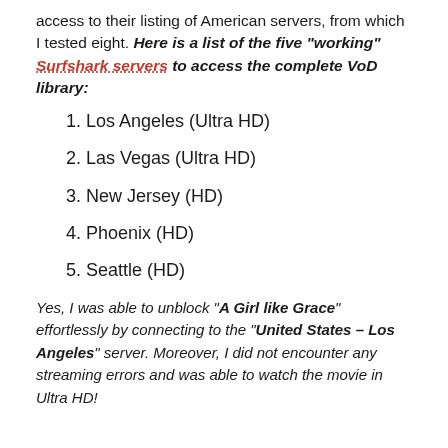access to their listing of American servers, from which I tested eight. Here is a list of the five "working" Surfshark servers to access the complete VoD library:
1. Los Angeles (Ultra HD)
2. Las Vegas (Ultra HD)
3. New Jersey (HD)
4. Phoenix (HD)
5. Seattle (HD)
Yes, I was able to unblock "A Girl like Grace" effortlessly by connecting to the "United States – Los Angeles" server. Moreover, I did not encounter any streaming errors and was able to watch the movie in Ultra HD!